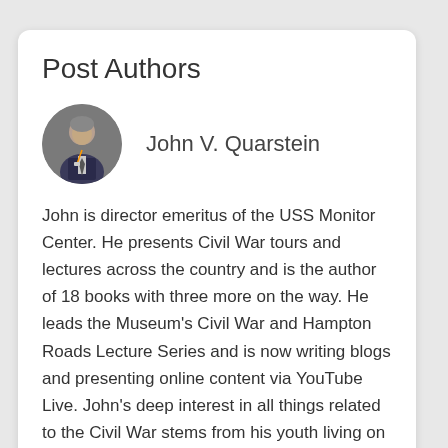Post Authors
[Figure (photo): Circular profile photo of John V. Quarstein, a man in a suit with a lanyard, against a dark background.]
John V. Quarstein
John is director emeritus of the USS Monitor Center. He presents Civil War tours and lectures across the country and is the author of 18 books with three more on the way. He leads the Museum’s Civil War and Hampton Roads Lecture Series and is now writing blogs and presenting online content via YouTube Live. John’s deep interest in all things related to the Civil War stems from his youth living on Fort Monroe, walking where heroes like Abraham Lincoln and R. E. Lee